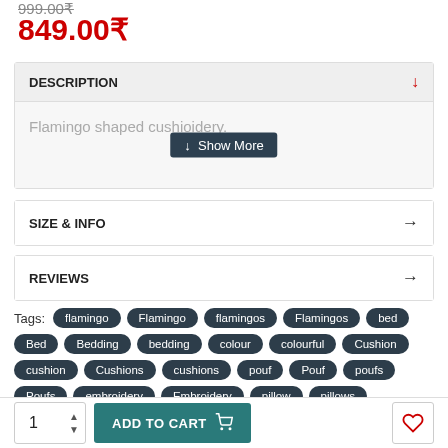999.00₹
849.00₹
DESCRIPTION
Flamingo shaped cushion with embroidery.
SIZE & INFO
REVIEWS
Tags: flamingo, Flamingo, flamingos, Flamingos, bed, Bed, Bedding, bedding, colour, colourful, Cushion, cushion, Cushions, cushions, pouf, Pouf, poufs, Poufs, embroidery, Embroidery, pillow, pillows
ADD TO CART